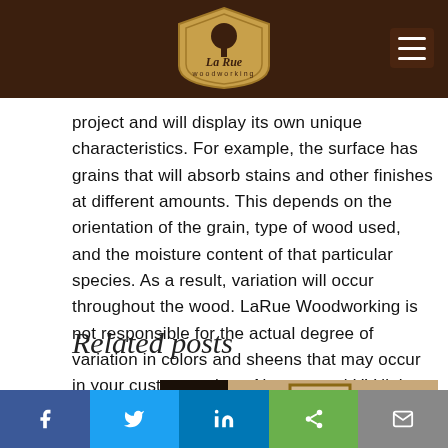LaRue Woodworking
project and will display its own unique characteristics. For example, the surface has grains that will absorb stains and other finishes at different amounts. This depends on the orientation of the grain, type of wood used, and the moisture content of that particular species. As a result, variation will occur throughout the wood. LaRue Woodworking is not responsible for the actual degree of variation in colors and sheens that may occur in your custom project. Also, natural UV light and age will affect the color and sheen of your custom piece over time.
Related posts
[Figure (photo): Partial photo of a framed artwork or wall decoration in a room setting, partially visible at bottom of page.]